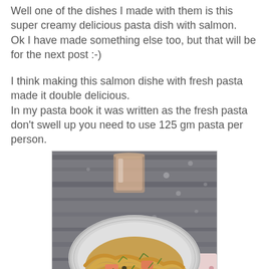Well one of the dishes I made with them is this super creamy delicious pasta dish with salmon.
Ok I have made something else too, but that will be for the next post :-)
I think making this salmon dishe with fresh pasta made it double delicious.
In my pasta book it was written as the fresh pasta don't swell up you need to use 125 gm pasta per person.
[Figure (photo): A plate of creamy salmon pasta with tagliatelle, garnished with herbs and capers, served in a grey rimmed plate. A glass of rosé wine in the background on a wooden table with a floral napkin.]